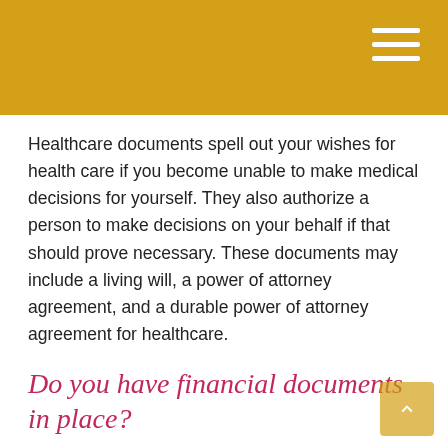Healthcare documents spell out your wishes for health care if you become unable to make medical decisions for yourself. They also authorize a person to make decisions on your behalf if that should prove necessary. These documents may include a living will, a power of attorney agreement, and a durable power of attorney agreement for healthcare.
Do you have financial documents in place?
Certain financial documents can outline your financial wishes. If you become unable to make decisions for yourself, these financial documents can be structured to empower a person to make decisions on your behalf. These documents may include joint ownership, durable power of attorney, and living trusts.